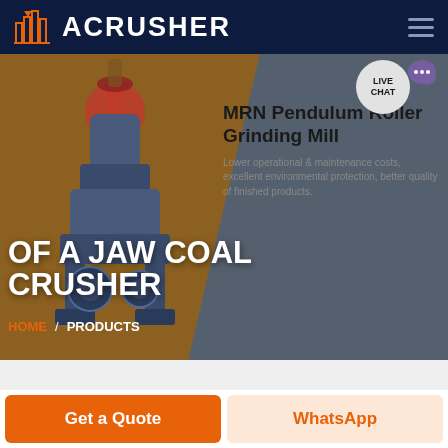[Figure (screenshot): ACRUSHER company logo with orange building icon on dark navy background]
OF A JAW COAL CRUSHER
[Figure (photo): Industrial coal crusher machine (pendulum roller grinding mill) rendered in 3D on brown/grey hero banner background]
MRN Pendulum Roller Grinding Mill
Lower operational & maintenance costs, excellent environmental protection, better quality of finished products.
HOME / PRODUCTS
Get a Quote
WhatsApp